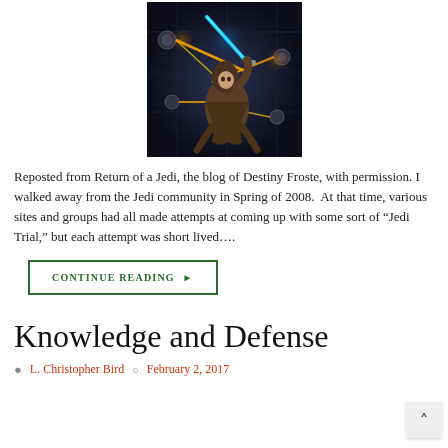[Figure (illustration): Digital illustration of a Jedi figure in a brown robe crouching and holding a blue lightsaber, deflecting laser beams from training remotes in a dark sci-fi environment.]
Reposted from Return of a Jedi, the blog of Destiny Froste, with permission. I walked away from the Jedi community in Spring of 2008.  At that time, various sites and groups had all made attempts at coming up with some sort of “Jedi Trial,” but each attempt was short lived….
CONTINUE READING ▶
Knowledge and Defense
L. Christopher Bird   February 2, 2017